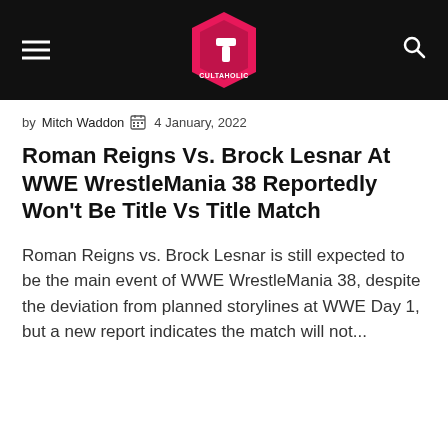Cultaholic (logo header bar)
by Mitch Waddon  4 January, 2022
Roman Reigns Vs. Brock Lesnar At WWE WrestleMania 38 Reportedly Won't Be Title Vs Title Match
Roman Reigns vs. Brock Lesnar is still expected to be the main event of WWE WrestleMania 38, despite the deviation from planned storylines at WWE Day 1, but a new report indicates the match will not...